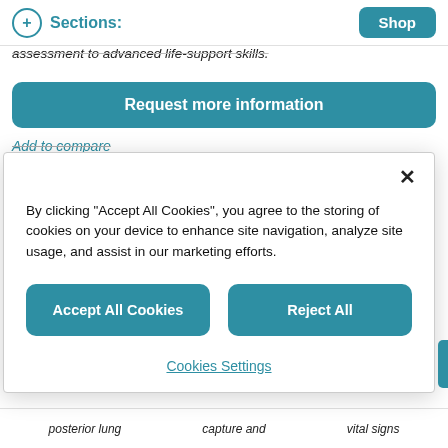Sections: | Shop
assessment to advanced life-support skills.
Request more information
Add to compare
By clicking "Accept All Cookies", you agree to the storing of cookies on your device to enhance site navigation, analyze site usage, and assist in our marketing efforts.
Accept All Cookies
Reject All
Cookies Settings
posterior lung   capture and   vital signs